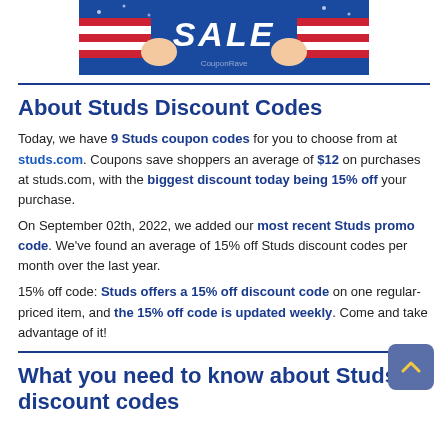[Figure (illustration): Patriotic sale banner with blue background, American flags, and 'SALE' text in white bold italic letters]
About Studs Discount Codes
Today, we have 9 Studs coupon codes for you to choose from at studs.com. Coupons save shoppers an average of $12 on purchases at studs.com, with the biggest discount today being 15% off your purchase.
On September 02th, 2022, we added our most recent Studs promo code. We've found an average of 15% off Studs discount codes per month over the last year.
15% off code: Studs offers a 15% off discount code on one regular-priced item, and the 15% off code is updated weekly. Come and take advantage of it!
What you need to know about Studs discount codes